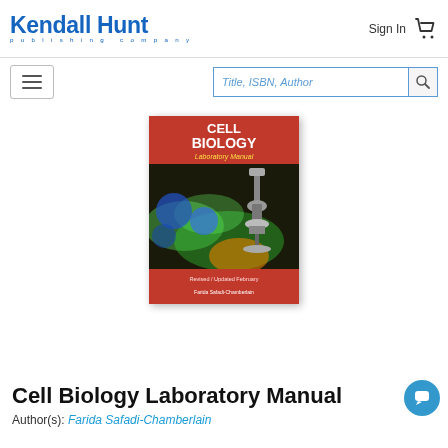Kendall Hunt publishing company
[Figure (logo): Kendall Hunt publishing company logo in blue]
Sign In
[Figure (other): Shopping cart icon]
[Figure (other): Hamburger menu icon]
Title, ISBN, Author (search box)
[Figure (photo): Book cover: Cell Biology Laboratory Manual by Farida Safadi-Chamberlain, showing fluorescent microscopy cell image and microscope]
Cell Biology Laboratory Manual
Author(s): Farida Safadi-Chamberlain